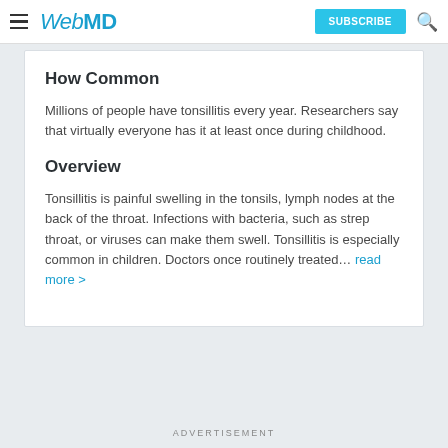WebMD | SUBSCRIBE
How Common
Millions of people have tonsillitis every year. Researchers say that virtually everyone has it at least once during childhood.
Overview
Tonsillitis is painful swelling in the tonsils, lymph nodes at the back of the throat. Infections with bacteria, such as strep throat, or viruses can make them swell. Tonsillitis is especially common in children. Doctors once routinely treated... read more >
ADVERTISEMENT